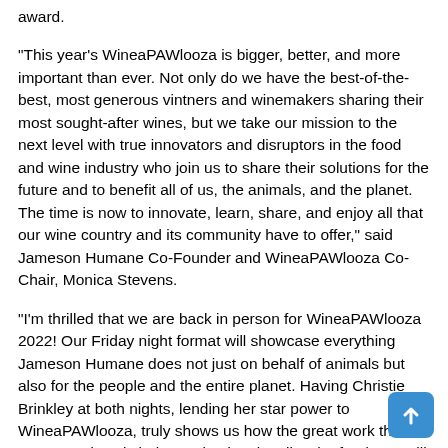award.
"This year's WineaPAWlooza is bigger, better, and more important than ever. Not only do we have the best-of-the-best, most generous vintners and winemakers sharing their most sought-after wines, but we take our mission to the next level with true innovators and disruptors in the food and wine industry who join us to share their solutions for the future and to benefit all of us, the animals, and the planet. The time is now to innovate, learn, share, and enjoy all that our wine country and its community have to offer," said Jameson Humane Co-Founder and WineaPAWlooza Co-Chair, Monica Stevens.
"I'm thrilled that we are back in person for WineaPAWlooza 2022! Our Friday night format will showcase everything Jameson Humane does not just on behalf of animals but also for the people and the entire planet. Having Christie Brinkley at both nights, lending her star power to WineaPAWlooza, truly shows us how the great work that Jameson does is being noticed nationally. The funds we will raise on Saturday are more